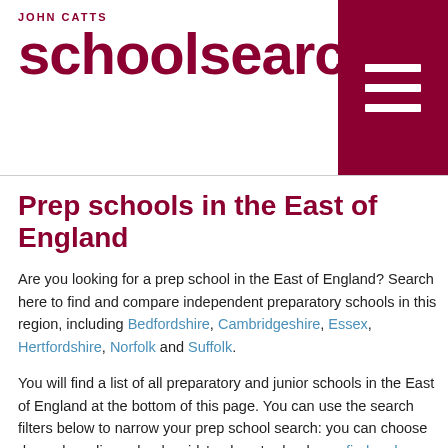JOHN CATTS schoolsearch.co.uk
Prep schools in the East of England
Are you looking for a prep school in the East of England? Search here to find and compare independent preparatory schools in this region, including Bedfordshire, Cambridgeshire, Essex, Hertfordshire, Norfolk and Suffolk.
You will find a list of all preparatory and junior schools in the East of England at the bottom of this page. You can use the search filters below to narrow your prep school search: you can choose day or boarding schools, girls' or boys' schools, or find and compare the schools nearest to you with our postcode search.